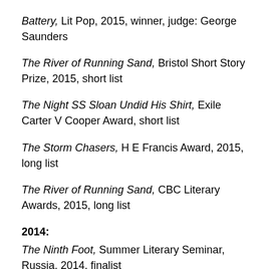Battery, Lit Pop, 2015, winner, judge: George Saunders
The River of Running Sand, Bristol Short Story Prize, 2015, short list
The Night SS Sloan Undid His Shirt, Exile Carter V Cooper Award, short list
The Storm Chasers, H E Francis Award, 2015, long list
The River of Running Sand, CBC Literary Awards, 2015, long list
2014:
The Ninth Foot, Summer Literary Seminar, Russia, 2014, finalist
The Ninth Foot, Prism International short fiction contest